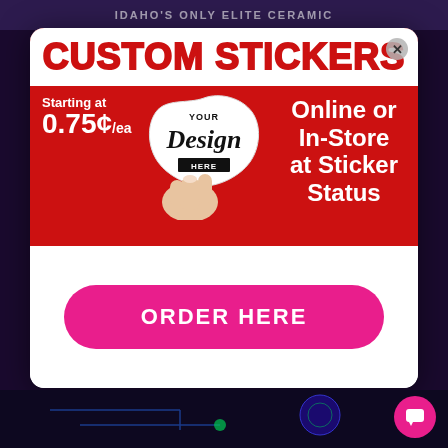IDAHO'S ONLY ELITE CERAMIC
[Figure (illustration): Custom Stickers advertisement modal. Red background panel with white banner showing 'CUSTOM STICKERS' in bold red block letters. Below: 'Starting at 0.75¢/ea' in white on red, a hand holding a sticker with 'YOUR Design Here' in a cloud/blob shape, and 'Online or In-Store at Sticker Status' in bold white. A close (X) button top right. Bottom white panel with a large hot-pink 'ORDER HERE' button.]
CUSTOM STICKERS
Starting at 0.75¢/ea
Online or In-Store at Sticker Status
ORDER HERE